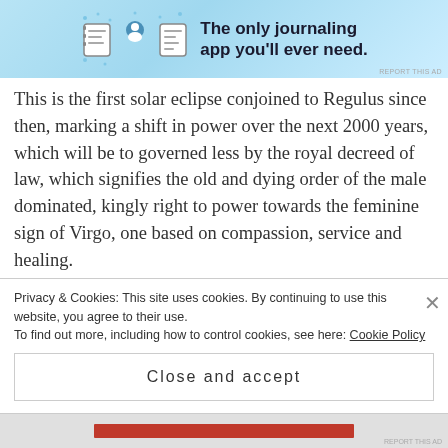[Figure (illustration): Advertisement banner with light blue background showing three illustrated icons (a notebook/journal, a person, and a document/app icon) and the text 'The only journaling app you'll ever need.']
This is the first solar eclipse conjoined to Regulus since then, marking a shift in power over the next 2000 years, which will be to governed less by the royal decreed of law, which signifies the old and dying order of the male dominated, kingly right to power towards the feminine sign of Virgo, one based on compassion, service and healing.
We are witnessing at present, many, especially in politics who are of the dying order still desperately clinging to power as we transition into this new era
Privacy & Cookies: This site uses cookies. By continuing to use this website, you agree to their use.
To find out more, including how to control cookies, see here: Cookie Policy
Close and accept